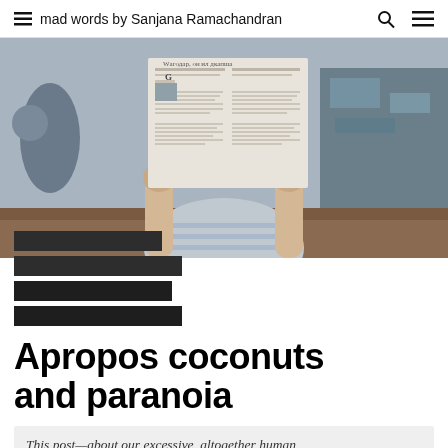mad words by Sanjana Ramachandran
[Figure (photo): Person sitting outdoors holding up a large newspaper covering their face, wearing a striped long-sleeve shirt, with graffiti wall in background]
Apropos coconuts and paranoia
This post—about our excessive, altogether human